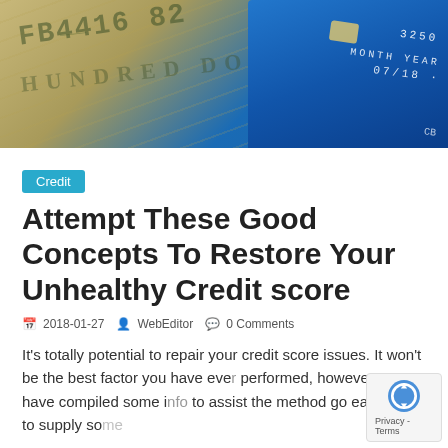[Figure (photo): Close-up photo of US dollar bills and a blue credit card with numbers visible]
Credit
Attempt These Good Concepts To Restore Your Unhealthy Credit score
2018-01-27   WebEditor   0 Comments
It's totally potential to repair your credit score issues. It won't be the best factor you have ever performed, however we have compiled some info to assist the method go easily and to supply some